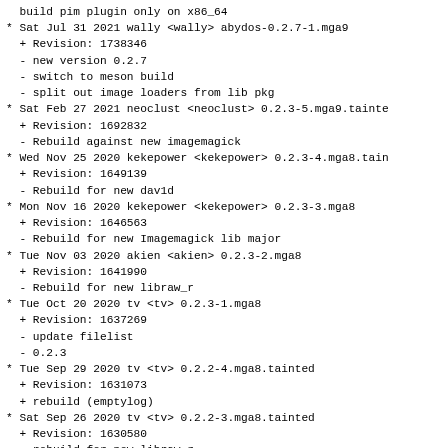build pim plugin only on x86_64
* Sat Jul 31 2021 wally <wally> abydos-0.2.7-1.mga9
  + Revision: 1738346
  - new version 0.2.7
  - switch to meson build
  - split out image loaders from lib pkg
* Sat Feb 27 2021 neoclust <neoclust> 0.2.3-5.mga9.tainted
  + Revision: 1692832
  - Rebuild against new imagemagick
* Wed Nov 25 2020 kekepower <kekepower> 0.2.3-4.mga8.tainted
  + Revision: 1649139
  - Rebuild for new dav1d
* Mon Nov 16 2020 kekepower <kekepower> 0.2.3-3.mga8
  + Revision: 1646563
  - Rebuild for new Imagemagick lib major
* Tue Nov 03 2020 akien <akien> 0.2.3-2.mga8
  + Revision: 1641990
  - Rebuild for new libraw_r
* Tue Oct 20 2020 tv <tv> 0.2.3-1.mga8
  + Revision: 1637269
  - update filelist
  - 0.2.3
* Tue Sep 29 2020 tv <tv> 0.2.2-4.mga8.tainted
  + Revision: 1631073
  + rebuild (emptylog)
* Sat Sep 26 2020 tv <tv> 0.2.2-3.mga8.tainted
  + Revision: 1630580
  - rebuild for new libraw_r
* Fri Sep 18 2020 wally <wally> 0.2.2-2.mga8
  + Revision: 1628656
  - make plugins co-installable with older api versions